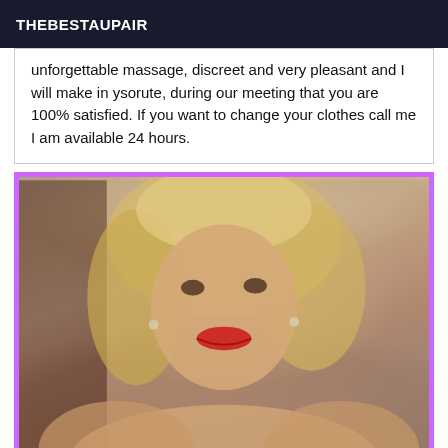THEBESTAUPAIR
unforgettable massage, discreet and very pleasant and I will make in ysorute, during our meeting that you are 100% satisfied. If you want to change your clothes call me I am available 24 hours.
[Figure (photo): Portrait photo of a middle-aged blonde woman smiling, with red lipstick, wearing earrings, inside a room. Photo has a purple/magenta border.]